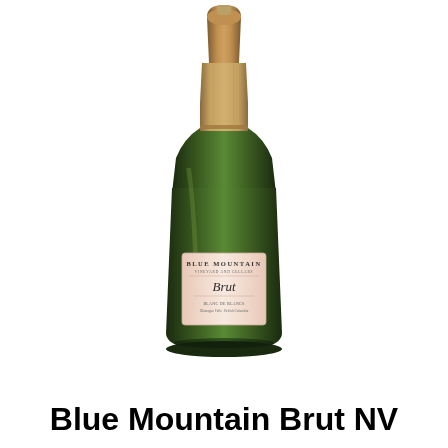[Figure (photo): A bottle of Blue Mountain Brut NV sparkling wine. The bottle has a dark green body, a foil-wrapped neck in champagne/gold color, and a pink label reading 'Blue Mountain Brut' with additional text indicating Okanagan Falls, British Columbia.]
Blue Mountain Brut NV